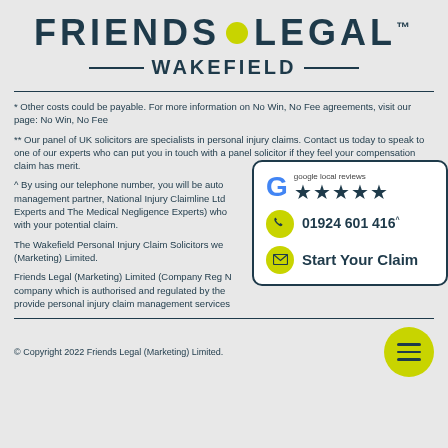FRIENDS • LEGAL™
WAKEFIELD
* Other costs could be payable. For more information on No Win, No Fee agreements, visit our page: No Win, No Fee
** Our panel of UK solicitors are specialists in personal injury claims. Contact us today to speak to one of our experts who can put you in touch with a panel solicitor if they feel your compensation claim has merit.
^ By using our telephone number, you will be auto... management partner, National Injury Claimline Ltd... Experts and The Medical Negligence Experts) who... with your potential claim.
The Wakefield Personal Injury Claim Solicitors we... (Marketing) Limited.
Friends Legal (Marketing) Limited (Company Reg N... company which is authorised and regulated by the... provide personal injury claim management services...
[Figure (infographic): Google local reviews 5-star rating box, phone number 01924 601 416, and Start Your Claim button]
© Copyright 2022 Friends Legal (Marketing) Limited.